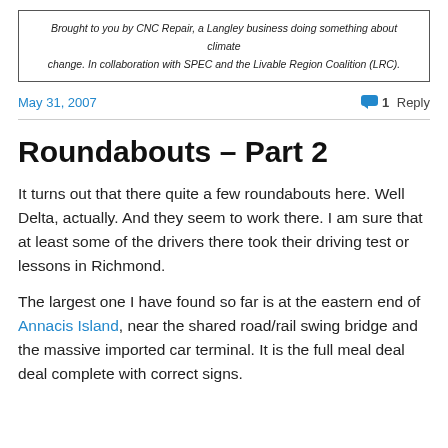Brought to you by CNC Repair, a Langley business doing something about climate change. In collaboration with SPEC and the Livable Region Coalition (LRC).
May 31, 2007
1 Reply
Roundabouts – Part 2
It turns out that there quite a few roundabouts here. Well Delta, actually. And they seem to work there. I am sure that at least some of the drivers there took their driving test or lessons in Richmond.
The largest one I have found so far is at the eastern end of Annacis Island, near the shared road/rail swing bridge and the massive imported car terminal. It is the full meal deal deal complete with correct signs.